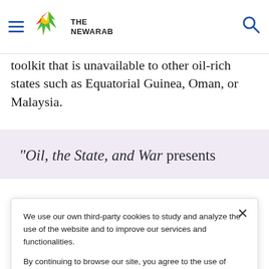The New Arab — navigation header with hamburger menu, logo, and search icon
toolkit that is unavailable to other oil-rich states such as Equatorial Guinea, Oman, or Malaysia.
"Oil, the State, and War presents
We use our own third-party cookies to study and analyze the use of the website and to improve our services and functionalities.

By continuing to browse our site, you agree to the use of cookies and our Privacy Policy.
Accept